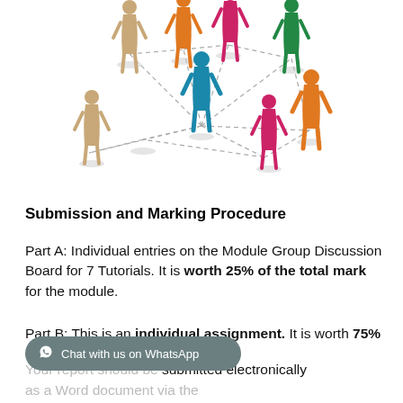[Figure (illustration): Network of colorful 3D human figures (orange, teal/blue, pink/magenta, green, beige) connected by dashed lines, representing group/network collaboration.]
Submission and Marking Procedure
Part A: Individual entries on the Module Group Discussion Board for 7 Tutorials. It is worth 25% of the total mark for the module.
Part B: This is an individual assignment. It is worth 75% of the total mark for the module.
Your report should be submitted electronically as a Word document via the